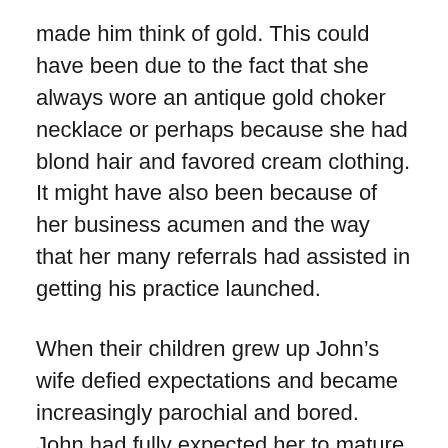made him think of gold. This could have been due to the fact that she always wore an antique gold choker necklace or perhaps because she had blond hair and favored cream clothing. It might have also been because of her business acumen and the way that her many referrals had assisted in getting his practice launched.
When their children grew up John's wife defied expectations and became increasingly parochial and bored. John had fully expected her to mature into a replica of her mother, with the same drive and business-like approach to life. Indeed, when he was in high school his father had told him to make sure that he liked his girlfriend's mothers for, he counseled, “Most women eventually turn out to resemble their mothers.” John liked Goldie, for her go-getter attitude, and her interest in art and literature. He always looked forward to a healthy